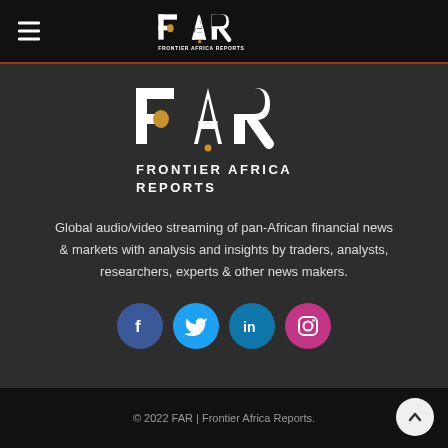[Figure (logo): Frontier Africa Reports (FAR) logo in top navigation bar — white stylized F, A, R letters with Africa map icon, white text FRONTIER AFRICA REPORTS below]
[Figure (logo): Frontier Africa Reports (FAR) large logo centered — white stylized F, A, R letters with gold Africa continent map icon, white bold text FRONTIER AFRICA REPORTS below]
Global audio/video streaming of pan-African financial news & markets with analysis and insights by traders, analysts, researchers, experts & other news makers.
[Figure (infographic): Four social media icon buttons: Facebook (dark blue circle with f), Twitter (light blue circle with bird), LinkedIn (teal circle with in), Instagram (pink/magenta circle with camera icon)]
© 2022 FAR | Frontier Africa Reports.